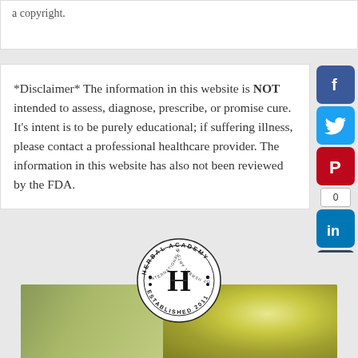a copyright.
*Disclaimer* The information in this website is NOT intended to assess, diagnose, prescribe, or promise cure. It's intent is to be purely educational; if suffering illness, please contact a professional healthcare provider. The information in this website has also not been reviewed by the FDA.
[Figure (logo): Herbal Academy - International School of Herbal Arts & Sciences, Established 2011 circular logo with letter H]
[Figure (photo): Photo of herbs and a green mortar/pestle or bowl]